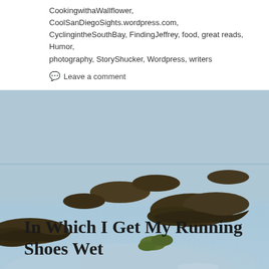CookingwithaWallflower, CoolSanDiegoSights.wordpress.com, CyclingintheSouthBay, FindingJeffrey, food, great reads, Humor, photography, StoryShucker, Wordpress, writers
💬 Leave a comment
[Figure (photo): Beach scene with wet sand, seaweed piled along the shoreline, and calm shallow water reflecting sunlight. Rocky/kelp formations in the background.]
In Which I Get My Running Shoes Wet